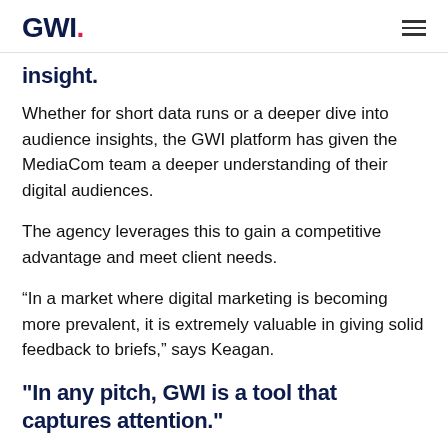GWI.
insight.
Whether for short data runs or a deeper dive into audience insights, the GWI platform has given the MediaCom team a deeper understanding of their digital audiences.
The agency leverages this to gain a competitive advantage and meet client needs.
“In a market where digital marketing is becoming more prevalent, it is extremely valuable in giving solid feedback to briefs,” says Keagan.
"In any pitch, GWI is a tool that captures attention."